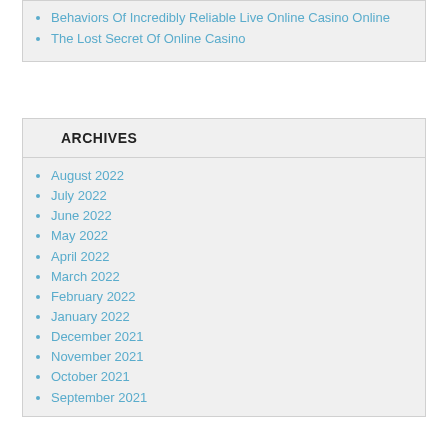Behaviors Of Incredibly Reliable Live Online Casino Online
The Lost Secret Of Online Casino
ARCHIVES
August 2022
July 2022
June 2022
May 2022
April 2022
March 2022
February 2022
January 2022
December 2021
November 2021
October 2021
September 2021